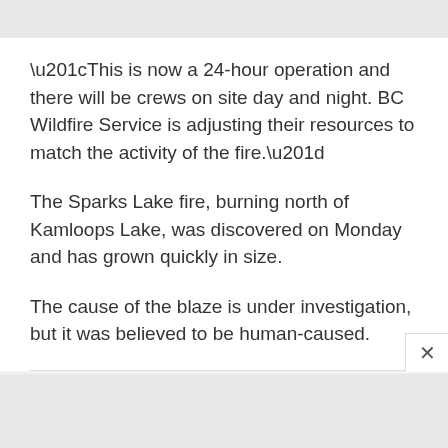“This is now a 24-hour operation and there will be crews on site day and night. BC Wildfire Service is adjusting their resources to match the activity of the fire.”
The Sparks Lake fire, burning north of Kamloops Lake, was discovered on Monday and has grown quickly in size.
The cause of the blaze is under investigation, but it was believed to be human-caused.
UPDATE: 11:18 a.m.